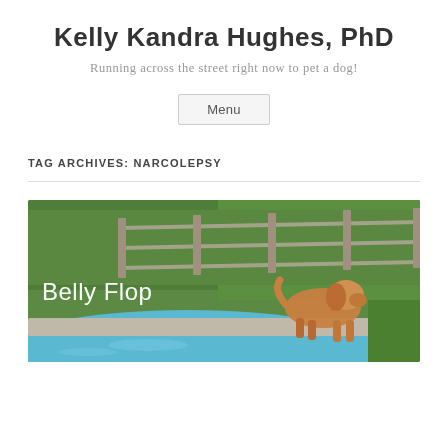Kelly Kandra Hughes, PhD
Running across the street right now to pet a dog!
Menu
TAG ARCHIVES: NARCOLEPSY
[Figure (photo): A golden retriever dog standing at the edge of a swimming pool, about to jump in. The background shows a lush green lawn and a wooden split-rail fence. White text overlay reads 'Belly Flop'.]